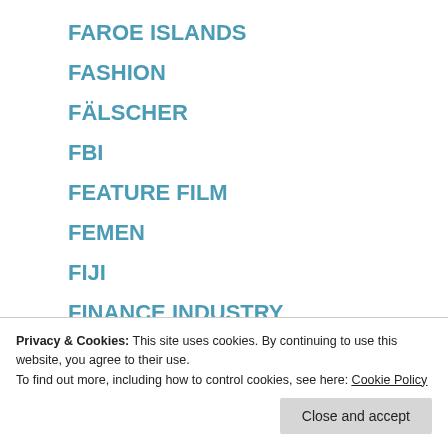FAROE ISLANDS
FASHION
FÄLSCHER
FBI
FEATURE FILM
FEMEN
FIJI
FINANCE INDUSTRY
FINANCIAL DISCLOSURE
Privacy & Cookies: This site uses cookies. By continuing to use this website, you agree to their use.
To find out more, including how to control cookies, see here: Cookie Policy
Close and accept